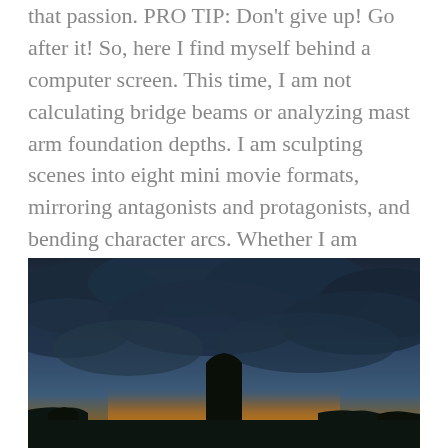that passion.  PRO TIP: Don't give up! Go after it!  So, here I find myself behind a computer screen.  This time, I am not calculating bridge beams or analyzing mast arm foundation depths.  I am sculpting scenes into eight mini movie formats, mirroring antagonists and protagonists, and bending character arcs.  Whether I am successful or not is moot because you cannot abandon your passion.  And, passions generally yield successes!
[Figure (photo): A dramatic landscape photo showing a dark stormy sky with heavy clouds, a golden-orange sunset glow near the horizon, and a large rock butte or monolith silhouetted in the lower center. The foreground shows darker land with small figures or structures silhouetted against the glowing sky.]